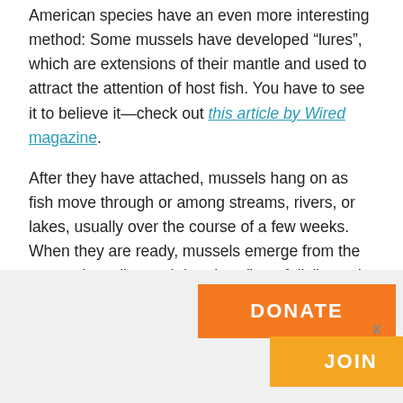American species have an even more interesting method: Some mussels have developed “lures”, which are extensions of their mantle and used to attract the attention of host fish. You have to see it to believe it—check out this article by Wired magazine.
After they have attached, mussels hang on as fish move through or among streams, rivers, or lakes, usually over the course of a few weeks. When they are ready, mussels emerge from the cyst as juveniles and drop into (hopefully!) good habitat. At that point, they burrow into the stream or lake bottom, where they will grow into adults. If conditions are good, this is where mussels will spend the next 10, 20, or for some species, as much as 60-100 years of their life! As you can see, mussels and fish have a symbiotic relationship—mussels
[Figure (other): Donate and Join buttons overlaid on a light gray banner at the bottom of the page. Orange DONATE button and lighter orange JOIN button with a close X.]